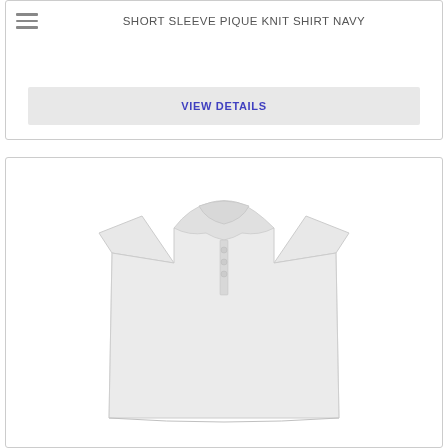SHORT SLEEVE PIQUE KNIT SHIRT NAVY
VIEW DETAILS
[Figure (photo): A white short sleeve pique knit polo shirt displayed on a light background]